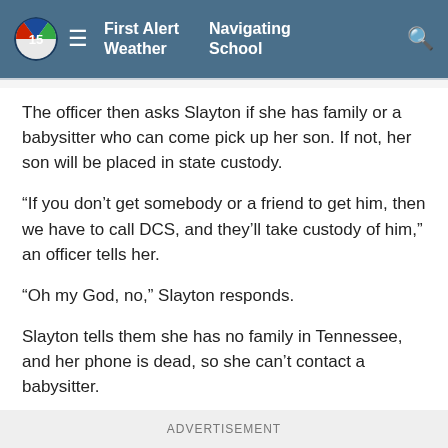First Alert Weather   Navigating School
The officer then asks Slayton if she has family or a babysitter who can come pick up her son. If not, her son will be placed in state custody.
“If you don’t get somebody or a friend to get him, then we have to call DCS, and they’ll take custody of him,” an officer tells her.
“Oh my God, no,” Slayton responds.
Slayton tells them she has no family in Tennessee, and her phone is dead, so she can’t contact a babysitter.
ADVERTISEMENT